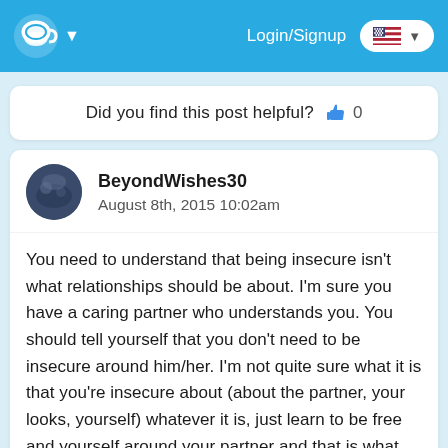Login/Signup
Did you find this post helpful? 👍 0
BeyondWishes30
August 8th, 2015 10:02am
You need to understand that being insecure isn't what relationships should be about. I'm sure you have a caring partner who understands you. You should tell yourself that you don't need to be insecure around him/her. I'm not quite sure what it is that you're insecure about (about the partner, your looks, yourself) whatever it is, just learn to be free and yourself around your partner and that is what will give you true happiness. Remember